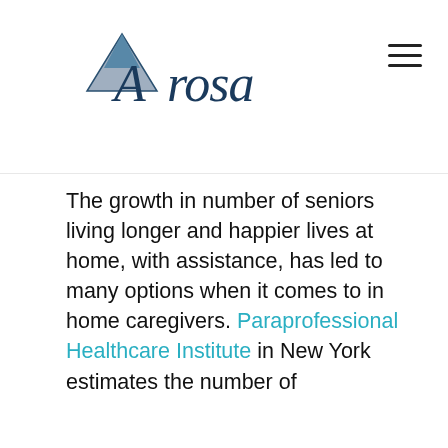Arosa (logo)
The growth in number of seniors living longer and happier lives at home, with assistance, has led to many options when it comes to in home caregivers. Paraprofessional Healthcare Institute in New York estimates the number of
Arosa uses cookies, web beacons, embedded scripts and similar tools to collect information about how users use and interact with our services through our website, applications, and other devices. When users access our website our servers automatically record certain information. Learn More.